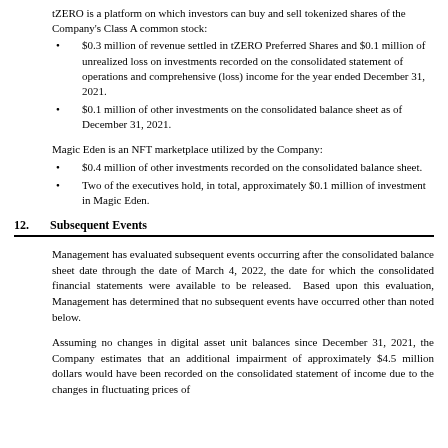tZERO is a platform on which investors can buy and sell tokenized shares of the Company's Class A common stock:
$0.3 million of revenue settled in tZERO Preferred Shares and $0.1 million of unrealized loss on investments recorded on the consolidated statement of operations and comprehensive (loss) income for the year ended December 31, 2021.
$0.1 million of other investments on the consolidated balance sheet as of December 31, 2021.
Magic Eden is an NFT marketplace utilized by the Company:
$0.4 million of other investments recorded on the consolidated balance sheet.
Two of the executives hold, in total, approximately $0.1 million of investment in Magic Eden.
12.   Subsequent Events
Management has evaluated subsequent events occurring after the consolidated balance sheet date through the date of March 4, 2022, the date for which the consolidated financial statements were available to be released. Based upon this evaluation, Management has determined that no subsequent events have occurred other than noted below.
Assuming no changes in digital asset unit balances since December 31, 2021, the Company estimates that an additional impairment of approximately $4.5 million dollars would have been recorded on the consolidated statement of income due to the changes in fluctuating prices of